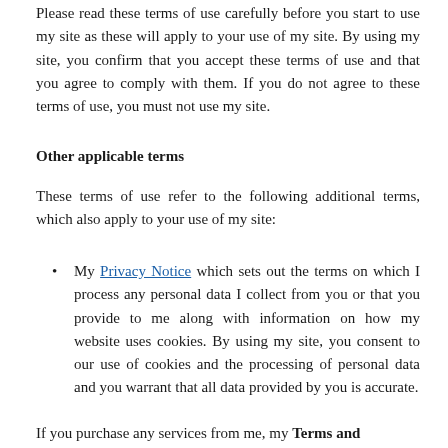Please read these terms of use carefully before you start to use my site as these will apply to your use of my site. By using my site, you confirm that you accept these terms of use and that you agree to comply with them. If you do not agree to these terms of use, you must not use my site.
Other applicable terms
These terms of use refer to the following additional terms, which also apply to your use of my site:
My Privacy Notice which sets out the terms on which I process any personal data I collect from you or that you provide to me along with information on how my website uses cookies. By using my site, you consent to our use of cookies and the processing of personal data and you warrant that all data provided by you is accurate.
If you purchase any services from me, my Terms and